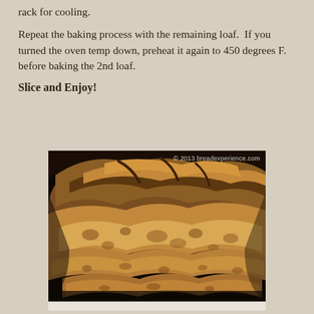rack for cooling.
Repeat the baking process with the remaining loaf.  If you turned the oven temp down, preheat it again to 450 degrees F. before baking the 2nd loaf.
Slice and Enjoy!
[Figure (photo): Close-up photograph of sliced rustic sourdough bread loaf showing golden-brown crust and open crumb structure. Watermark reads: © 2013 breadexperience.com]